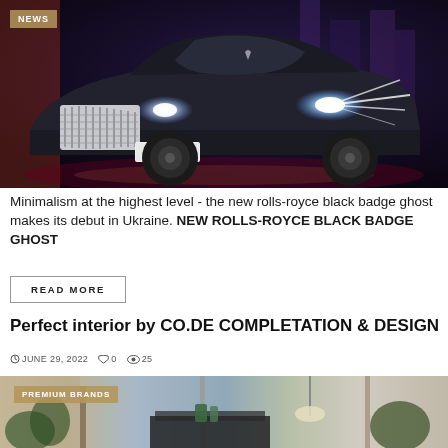[Figure (photo): Dark Rolls-Royce Black Badge Ghost luxury car with glowing headlights against a dark neon city background, license plate UCC 991, with a NEWS badge overlay in the top-left corner.]
Minimalism at the highest level - the new rolls-royce black badge ghost makes its debut in Ukraine. NEW ROLLS-ROYCE BLACK BADGE GHOST
READ MORE
Perfect interior by CO.DE COMPLETATION & DESIGN
JUNE 29, 2022  0  25
[Figure (photo): Luxury interior design photo showing a modern room with plants, furniture and soft lighting, with a PREMIUM BRANDS badge overlay in the top-left corner.]